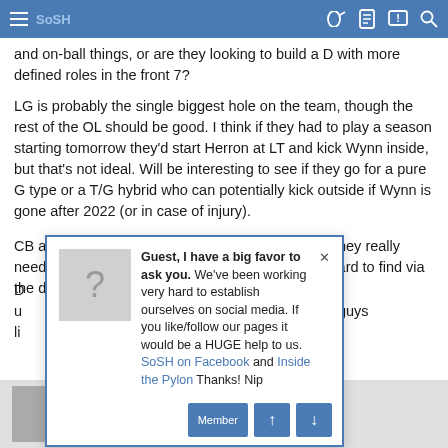SoSH [navigation bar with hamburger menu, key icon, document icon, alert icon, search icon]
and on-ball things, or are they looking to build a D with more defined roles in the front 7?
LG is probably the single biggest hole on the team, though the rest of the OL should be good. I think if they had to play a season starting tomorrow they'd start Herron at LT and kick Wynn inside, but that's not ideal. Will be interesting to see if they go for a pure G type or a T/G hybrid who can potentially kick outside if Wynn is gone after 2022 (or in case of injury).
CB and WR I think are both positions where what they really need is a #1 guy and, for obvious reasons, that's hard to find via the draft.
D[...] o replace / u[...] are a couple guys li[...]
[Figure (screenshot): Pop-up dialog with blue border. Contains a gray placeholder image with question mark, and text: 'Guest, I have a big favor to ask you. We've been working very hard to establish ourselves on social media. If you like/follow our pages it would be a HUGE help to us. SoSH on Facebook and Inside the Pylon Thanks! Nip'. Has two blue arrow buttons (up and down) and a 'Member' button at bottom right.]